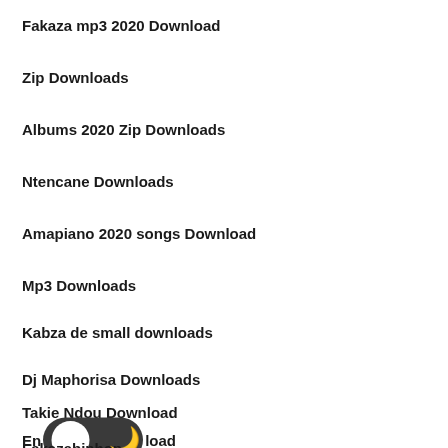Fakaza mp3 2020 Download
Zip Downloads
Albums 2020 Zip Downloads
Ntencane Downloads
Amapiano 2020 songs Download
Mp3 Downloads
Kabza de small downloads
Dj Maphorisa Downloads
Takie Ndou Download
En[toggle]load
Fakazabinhop